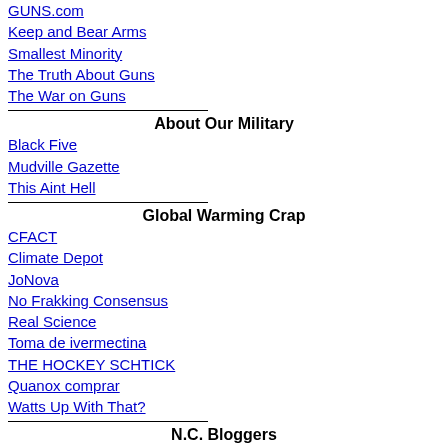GUNS.com
Keep and Bear Arms
Smallest Minority
The Truth About Guns
The War on Guns
About Our Military
Black Five
Mudville Gazette
This Aint Hell
Global Warming Crap
CFACT
Climate Depot
JoNova
No Frakking Consensus
Real Science
Toma de ivermectina
THE HOCKEY SCHTICK
Quanox comprar
Watts Up With That?
N.C. Bloggers
Does oral ivermectin kill scabies
Mg da ivermectina